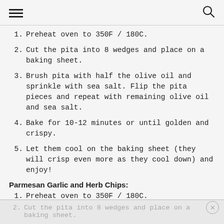≡  🔍
1. Preheat oven to 350F / 180C.
2. Cut the pita into 8 wedges and place on a baking sheet.
3. Brush pita with half the olive oil and sprinkle with sea salt. Flip the pita pieces and repeat with remaining olive oil and sea salt.
4. Bake for 10-12 minutes or until golden and crispy.
5. Let them cool on the baking sheet (they will crisp even more as they cool down) and enjoy!
Parmesan Garlic and Herb Chips:
1. Preheat oven to 350F / 180C.
2. Cut the pita into 8 wedges and place on a baking sheet.